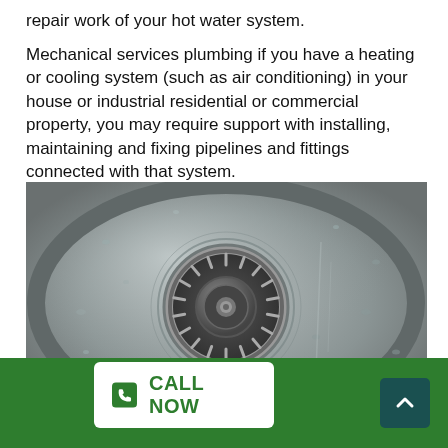repair work of your hot water system.
Mechanical services plumbing if you have a heating or cooling system (such as air conditioning) in your house or industrial residential or commercial property, you may require support with installing, maintaining and fixing pipelines and fittings connected with that system.
[Figure (photo): Close-up photo of a stainless steel kitchen sink drain strainer with water droplets around it]
CALL NOW